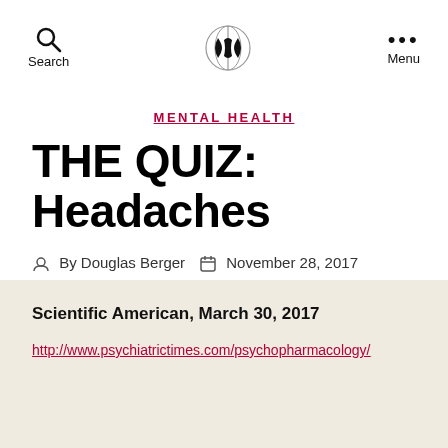Search | [logo] | Menu
MENTAL HEALTH
THE QUIZ: Headaches
By Douglas Berger | November 28, 2017
Scientific American, March 30, 2017
http://www.psychiatrictimes.com/psychopharmacology/